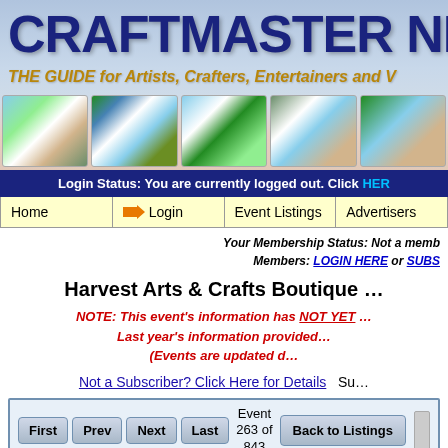CRAFTMASTER NEWS - THE GUIDE for Artists, Crafters, Entertainers and V...
Login Status: You are currently logged out. Click HERE
Home | Login | Event Listings | Advertisers
Your Membership Status: Not a memb... Members: LOGIN HERE or SUBS...
Harvest Arts & Crafts Boutique ...
NOTE: This event's information has NOT YET ... Last year's information provided... (Events are updated d...
Not a Subscriber? Click Here for Details   Su...
| Navigation | Event Count | Action |
| --- | --- | --- |
| First  Prev  Next  Last | Event 263 of 843 | Back to Listings |
| Field | Value |
| --- | --- |
| Date | 10/02/2021 |
| City/State | GRETNA, NE |
| Promoter | Good Shepherd Lutheran Church |